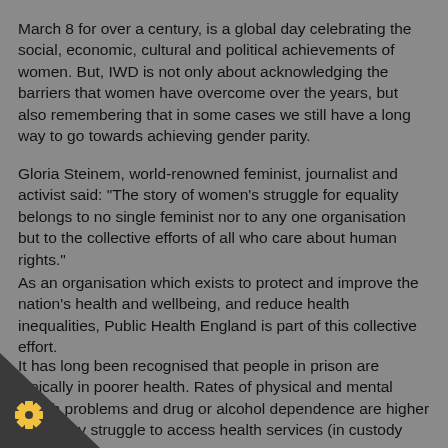March 8 for over a century, is a global day celebrating the social, economic, cultural and political achievements of women. But, IWD is not only about acknowledging the barriers that women have overcome over the years, but also remembering that in some cases we still have a long way to go towards achieving gender parity.
Gloria Steinem, world-renowned feminist, journalist and activist said: "The story of women's struggle for equality belongs to no single feminist nor to any one organisation but to the collective efforts of all who care about human rights."
As an organisation which exists to protect and improve the nation's health and wellbeing, and reduce health inequalities, Public Health England is part of this collective effort.
It has long been recognised that people in prison are typically in poorer health. Rates of physical and mental health problems and drug or alcohol dependence are higher and many struggle to access health services (in custody and